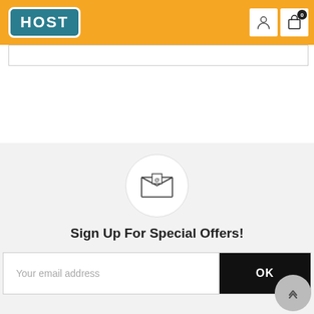[Figure (logo): HOST brand logo in teal rounded rectangle with orange background header bar, including user account icon and shopping cart icon with badge showing 0]
[Figure (illustration): Email envelope icon inside a white circle on a light gray background]
Sign Up For Special Offers!
[Figure (screenshot): Email input field with placeholder text 'Your email address' and a black OK button]